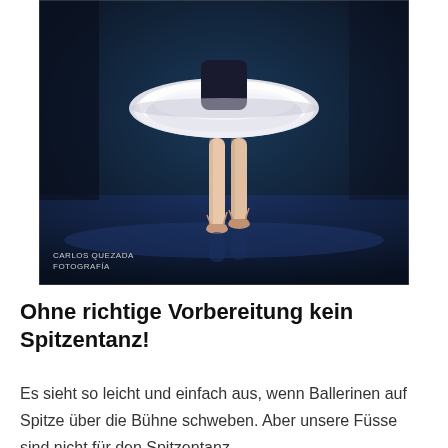[Figure (photo): A ballet dancer in a black bodice and white tutu performing en pointe on a stage with blue lighting. The dancer's upper body is cropped and only the legs and skirt are fully visible. Photographer credit: CARLOS QUEZADA FOTOGRAFIA in the lower left corner.]
Ohne richtige Vorbereitung kein Spitzentanz!
Es sieht so leicht und einfach aus, wenn Ballerinen auf Spitze über die Bühne schweben. Aber unsere Füsse sind nicht für den Spitzentanz